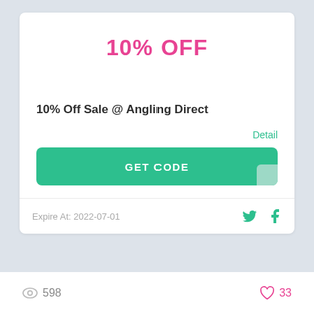10% OFF
10% Off Sale @ Angling Direct
Detail
GET CODE
Expire At: 2022-07-01
598
33